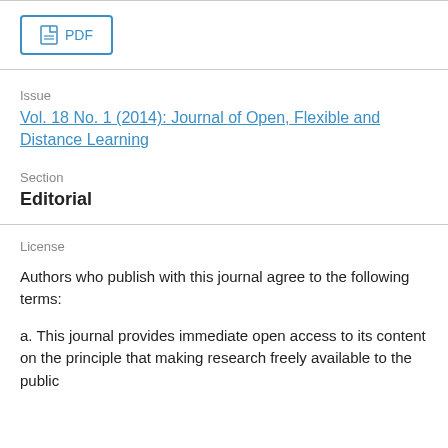[Figure (other): PDF button with document icon and 'PDF' label, styled with blue border]
Issue
Vol. 18 No. 1 (2014): Journal of Open, Flexible and Distance Learning
Section
Editorial
License
Authors who publish with this journal agree to the following terms:
a. This journal provides immediate open access to its content on the principle that making research freely available to the public